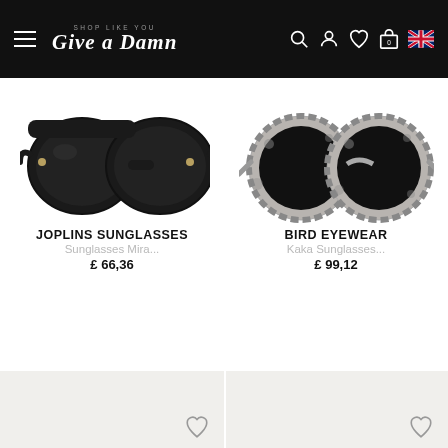SHOP LIKE YOU GIVE A DAMN — navigation bar with hamburger menu, brand logo, search, account, wishlist, cart (0), UK flag
[Figure (photo): Black wayfarer-style sunglasses (Joplins Sunglasses, Mira model) on white background]
JOPLINS SUNGLASSES
Sunglasses Mira...
£ 66,36
[Figure (photo): Round tortoiseshell/grey patterned sunglasses (Bird Eyewear, Kaka model) on white background]
BIRD EYEWEAR
Kaka Sunglasses...
£ 99,12
[Figure (photo): Partial product card (grey/beige background) with wishlist heart icon — product not fully visible]
[Figure (photo): Partial product card (grey/beige background) with wishlist heart icon — product not fully visible]